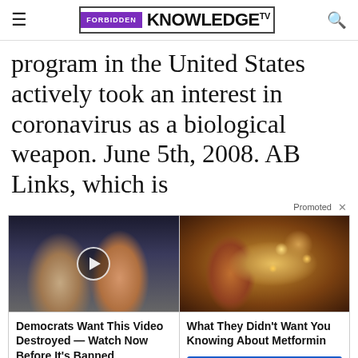FORBIDDEN KNOWLEDGE TV
program in the United States actively took an interest in coronavirus as a biological weapon. June 5th, 2008. AB Links, which is
Promoted ×
[Figure (photo): Two people at a public event, with a play button overlay icon]
[Figure (photo): Close-up medical image of a human organ (pancreas or similar)]
Democrats Want This Video Destroyed — Watch Now Before It's Banned
Watch The Video
What They Didn't Want You Knowing About Metformin
Watch The Video